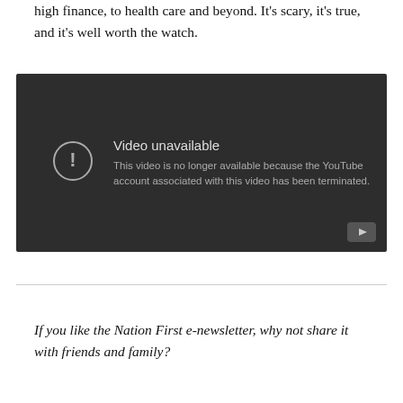high finance, to health care and beyond. It's scary, it's true, and it's well worth the watch.
[Figure (screenshot): Embedded YouTube video player showing error message: 'Video unavailable. This video is no longer available because the YouTube account associated with this video has been terminated.']
If you like the Nation First e-newsletter, why not share it with friends and family?